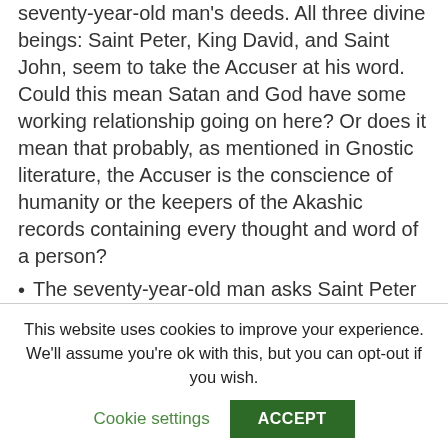seventy-year-old man's deeds. All three divine beings: Saint Peter, King David, and Saint John, seem to take the Accuser at his word. Could this mean Satan and God have some working relationship going on here? Or does it mean that probably, as mentioned in Gnostic literature, the Accuser is the conscience of humanity or the keepers of the Akashic records containing every thought and word of a person?
The seventy-year-old man asks Saint Peter and King David to pity him because, indeed, God pitied them when they were on this Earth and allowed them to become such iconic figures in Salvation
This website uses cookies to improve your experience. We'll assume you're ok with this, but you can opt-out if you wish.